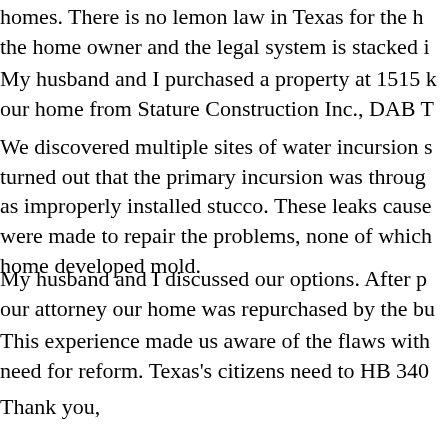homes. There is no lemon law in Texas for the home owner and the legal system is stacked i
My husband and I purchased a property at 1515 our home from Stature Construction Inc., DAB T
We discovered multiple sites of water incursion s turned out that the primary incursion was throug as improperly installed stucco. These leaks cause were made to repair the problems, none of which home developed mold.
My husband and I discussed our options. After p our attorney our home was repurchased by the bu
This experience made us aware of the flaws with need for reform. Texas's citizens need to HB 340
Thank you,
Carla Bistrick
Houston, Texas
*******************************************
April 23,2003
To: State Affairs, Chairman, Swinford and Committe
My husband and I are senior citizens and grandpare restraining order, preparing for our hearing and being